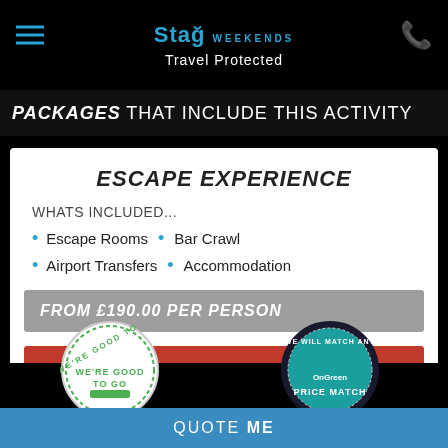Stag Weekends • Travel Protected
PACKAGES THAT INCLUDE THIS ACTIVITY
ESCAPE EXPERIENCE
WHATS INCLUDED...
Escape Rooms • Bar Crawl
Airport Transfers • Accommodation
FROM £190.00 PER PERSON
QUOTE ME
[Figure (logo): Green circular badge - WE'RE GOOD TO GO]
[Figure (logo): Teal circular badge - WE WILL MATCH ANY PRICE MATCH]
QUOTE ME